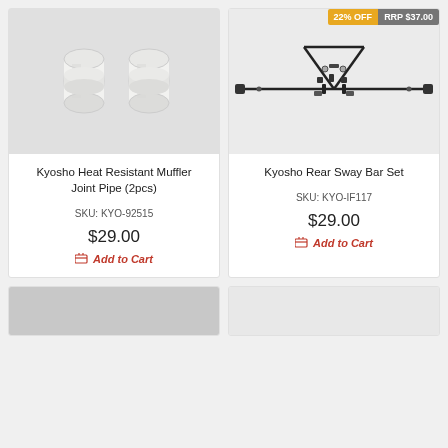[Figure (photo): Two white cylindrical muffler joint pipes on grey background]
Kyosho Heat Resistant Muffler Joint Pipe (2pcs)
SKU: KYO-92515
$29.00
Add to Cart
[Figure (photo): Kyosho rear sway bar set parts laid out on white background, with metal bar and small black fittings]
22% OFF
RRP $37.00
Kyosho Rear Sway Bar Set
SKU: KYO-IF117
$29.00
Add to Cart